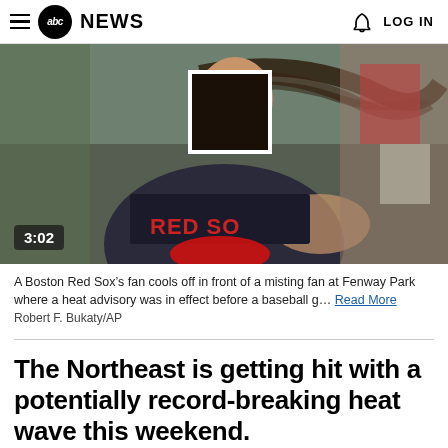abc NEWS  LOG IN
[Figure (photo): A Boston Red Sox fan with hair blowing in the wind, cooling off in front of a misting fan at Fenway Park. The person is wearing a Red Sox jersey and holding a red cap. A redacted box appears over the face. Video duration badge shows 3:02.]
A Boston Red Sox’s fan cools off in front of a misting fan at Fenway Park where a heat advisory was in effect before a baseball g… Read More
Robert F. Bukaty/AP
The Northeast is getting hit with a potentially record-breaking heat wave this weekend.